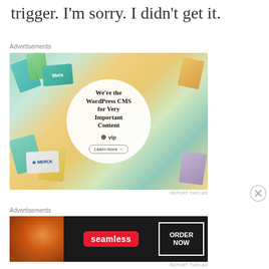trigger. I'm sorry. I didn't get it.
Advertisements
[Figure (other): WordPress VIP advertisement showing colorful brand cards (Meta, Facebook, Merck, Hachette, Salesforce) arranged around a central white circle with text 'We're the WordPress CMS for Very Important Content' with WordPress VIP logo and 'Learn more' button]
REPORT THIS AD
Advertisements
[Figure (other): Seamless food delivery advertisement with pizza image on left, Seamless red logo badge in center, and 'ORDER NOW' button on right, on dark background]